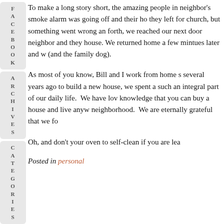To make a long story short, the amazing people in neighbor's smoke alarm was going off and their ho they left for church, but something went wrong an forth, we reached our next door neighbor and they house. We returned home a few mintues later and w (and the family dog).
As most of you know, Bill and I work from home s several years ago to build a new house, we spent a such an integral part of our daily life. We have lov knowledge that you can buy a house and live anyw neighborhood. We are eternally grateful that we fo
Oh, and don't your oven to self-clean if you are lea
Posted in personal